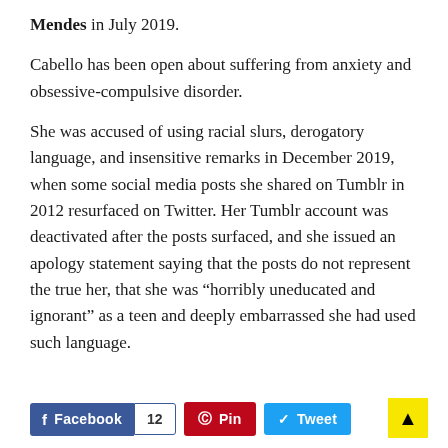Mendes in July 2019.
Cabello has been open about suffering from anxiety and obsessive-compulsive disorder.
She was accused of using racial slurs, derogatory language, and insensitive remarks in December 2019, when some social media posts she shared on Tumblr in 2012 resurfaced on Twitter. Her Tumblr account was deactivated after the posts surfaced, and she issued an apology statement saying that the posts do not represent the true her, that she was “horribly uneducated and ignorant” as a teen and deeply embarrassed she had used such language.
Facebook 12  Pin  Tweet